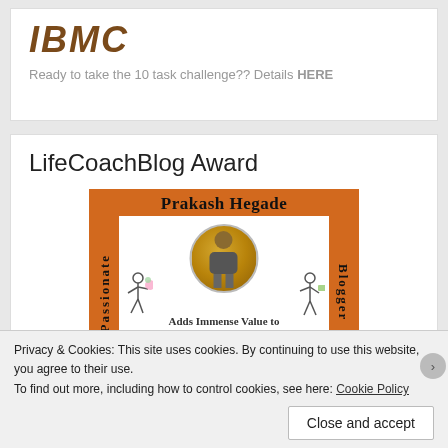[Figure (logo): IBMC logo in bold italic dark brown/orange text]
Ready to take the 10 task challenge?? Details HERE
LifeCoachBlog Award
[Figure (illustration): Prakash Hegade Passionate Blogger award card with orange background, profile photo in center, stick figures on sides, text 'Adds Immense Value to']
Privacy & Cookies: This site uses cookies. By continuing to use this website, you agree to their use.
To find out more, including how to control cookies, see here: Cookie Policy